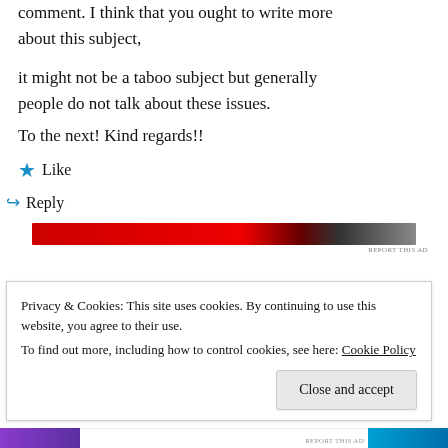comment. I think that you ought to write more about this subject, it might not be a taboo subject but generally people do not talk about these issues.
To the next! Kind regards!!
★ Like
↪ Reply
[Figure (other): Advertisement banner strip with red and dark gradient colors]
REPORT THIS AD
Privacy & Cookies: This site uses cookies. By continuing to use this website, you agree to their use.
To find out more, including how to control cookies, see here: Cookie Policy
Close and accept